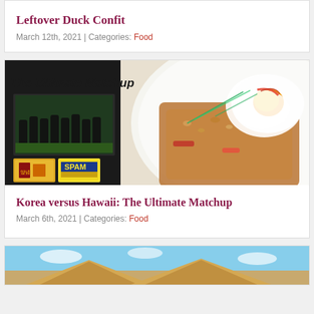Leftover Duck Confit
March 12th, 2021 | Categories: Food
[Figure (photo): Banner image for Korea versus Hawaii: The Ultimate Matchup article, showing a haka performance by rugby players, a bottle of Korean sauce, a SPAM can, and a fried rice dish with egg on a white plate]
Korea versus Hawaii: The Ultimate Matchup
March 6th, 2021 | Categories: Food
[Figure (photo): Partial bottom banner image showing sand dunes or pyramids under a blue sky]